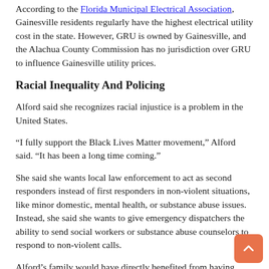According to the Florida Municipal Electrical Association, Gainesville residents regularly have the highest electrical utility cost in the state. However, GRU is owned by Gainesville, and the Alachua County Commission has no jurisdiction over GRU to influence Gainesville utility prices.
Racial Inequality And Policing
Alford said she recognizes racial injustice is a problem in the United States.
“I fully support the Black Lives Matter movement,” Alford said. “It has been a long time coming.”
She said she wants local law enforcement to act as second responders instead of first responders in non-violent situations, like minor domestic, mental health, or substance abuse issues. Instead, she said she wants to give emergency dispatchers the ability to send social workers or substance abuse counselors to respond to non-violent calls.
Alford’s family would have directly benefited from having